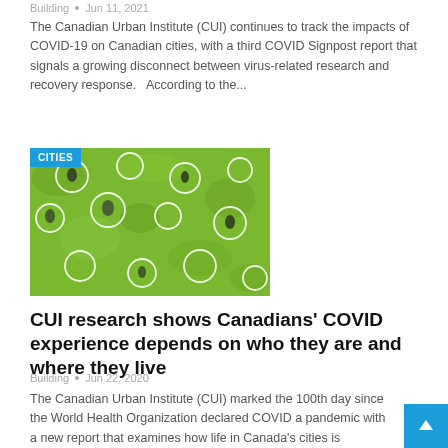Building  •  Jun 11, 2021
The Canadian Urban Institute (CUI) continues to track the impacts of COVID-19 on Canadian cities, with a third COVID Signpost report that signals a growing disconnect between virus-related research and recovery response.   According to the...
[Figure (photo): Aerial view of people sitting on grass, each within white painted circles for social distancing, with a 'CITIES' blue badge overlay in the top-left corner.]
CUI research shows Canadians' COVID experience depends on who they are and where they live
Building  •  Jun 22, 2020
The Canadian Urban Institute (CUI) marked the 100th day since the World Health Organization declared COVID a pandemic with a new report that examines how life in Canada's cities is changing how we live, move, work, care and prosper....